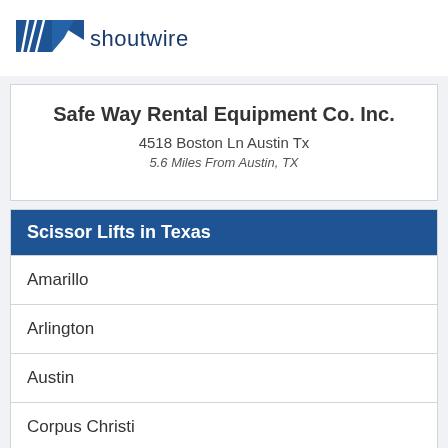[Figure (logo): Shoutwire logo with blue bird/wing icon and 'shoutwire' text]
Safe Way Rental Equipment Co. Inc.
4518 Boston Ln Austin Tx
5.6 Miles From Austin, TX
Scissor Lifts in Texas
Amarillo
Arlington
Austin
Corpus Christi
Dallas